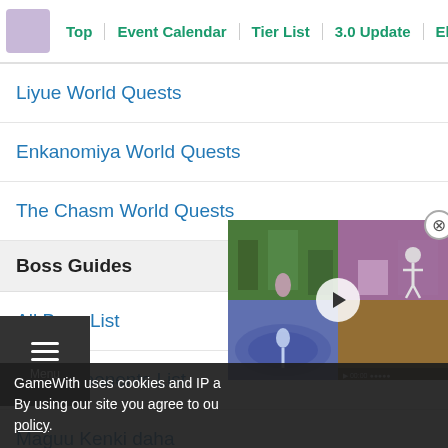Top | Event Calendar | Tier List | 3.0 Update | Electroc
Liyue World Quests
Enkanomiya World Quests
The Chasm World Quests
Boss Guides
All Boss List
Elite Opponents List
Maguu Kenki (Gaha)
Electro Hypostasis
[Figure (screenshot): Video player overlay showing a game screenshot with a play button]
GameWith uses cookies and IP a… By using our site you agree to ou… policy.